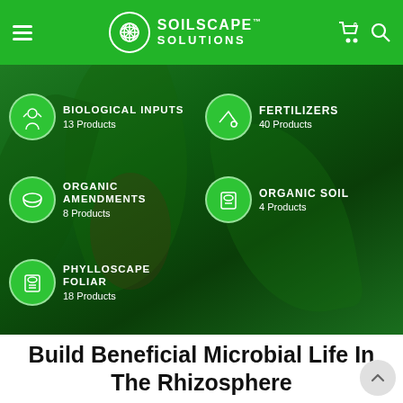Soilscape Solutions — Navigation header with logo, hamburger menu, cart, and search icons
[Figure (screenshot): Green banner with product category grid: Biological Inputs (13 Products), Fertilizers (40 Products), Organic Amendments (8 Products), Organic Soil (4 Products), Phylloscape Foliar (18 Products) — each with a circular icon on a dark green background with a plant/vegetable photo overlay]
Build Beneficial Microbial Life In The Rhizosphere